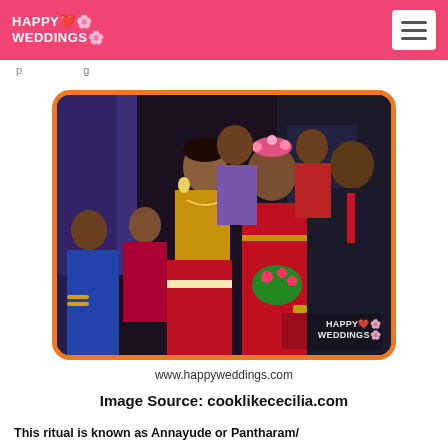HAPPY WEDDINGS
[Figure (photo): Wedding photo showing two women in traditional Indian attire (sarees and gold jewelry), one appearing to be the bride wearing a flower headdress and garland. Several guests visible in background at what appears to be an Indian wedding ceremony. Happy Weddings watermark in bottom right corner.]
www.happyweddings.com
Image Source: cooklikececilia.com
This ritual is known as Annayude or Pantharam/